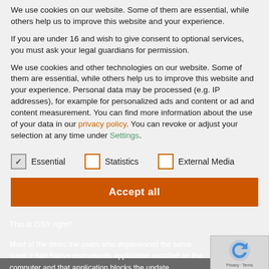We use cookies on our website. Some of them are essential, while others help us to improve this website and your experience.
If you are under 16 and wish to give consent to optional services, you must ask your legal guardians for permission.
We use cookies and other technologies on our website. Some of them are essential, while others help us to improve this website and your experience. Personal data may be processed (e.g. IP addresses), for example for personalized ads and content or ad and content measurement. You can find more information about the use of your data in our privacy policy. You can revoke or adjust your selection at any time under Settings.
Essential (checked)
Statistics (unchecked)
External Media (unchecked)
Accept all
This is OSX right?
Most of the times the users who experienced the same issue it had Native instruments application installed on the computer and that application blocks the update.